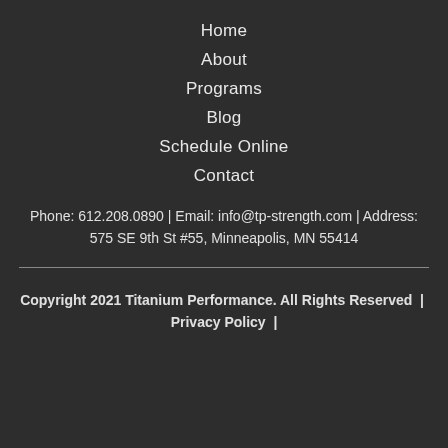Home
About
Programs
Blog
Schedule Online
Contact
Phone: 612.208.0890 | Email: info@tp-strength.com | Address: 575 SE 9th St #55, Minneapolis, MN 55414
Copyright 2021 Titanium Performance. All Rights Reserved  |  Privacy Policy  |